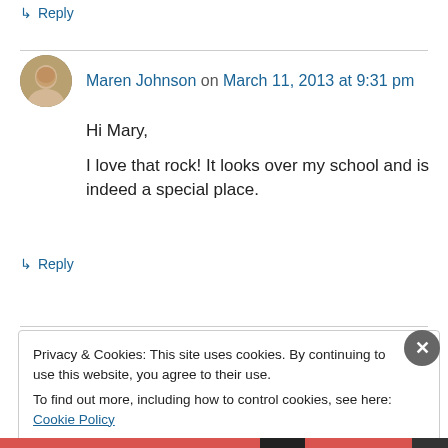↳ Reply
Maren Johnson on March 11, 2013 at 9:31 pm
Hi Mary,
I love that rock! It looks over my school and is indeed a special place.
↳ Reply
Privacy & Cookies: This site uses cookies. By continuing to use this website, you agree to their use.
To find out more, including how to control cookies, see here: Cookie Policy
Close and accept